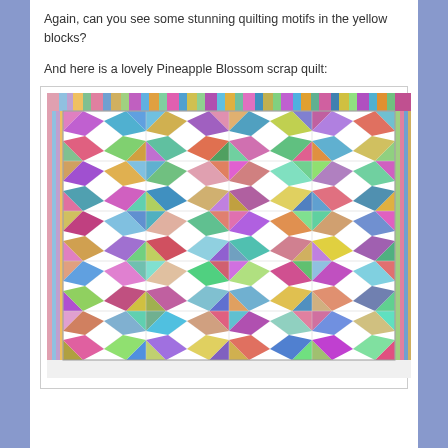Again, can you see some stunning quilting motifs in the yellow blocks?
And here is a lovely Pineapple Blossom scrap quilt:
[Figure (photo): A colorful Pineapple Blossom scrap quilt with multicolored patchwork blocks arranged in a grid pattern, featuring white diamond shapes and vibrant scrappy fabric pieces in blues, purples, pinks, greens, and reds, with striped borders on the sides.]